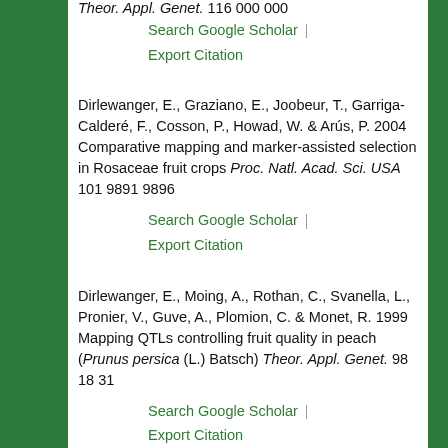Theor. Appl. Genet. 116 000 000
Search Google Scholar | Export Citation
Dirlewanger, E., Graziano, E., Joobeur, T., Garriga-Calderé, F., Cosson, P., Howad, W. & Arús, P. 2004 Comparative mapping and marker-assisted selection in Rosaceae fruit crops Proc. Natl. Acad. Sci. USA 101 9891 9896
Search Google Scholar | Export Citation
Dirlewanger, E., Moing, A., Rothan, C., Svanella, L., Pronier, V., Guve, A., Plomion, C. & Monet, R. 1999 Mapping QTLs controlling fruit quality in peach (Prunus persica (L.) Batsch) Theor. Appl. Genet. 98 18 31
Search Google Scholar | Export Citation